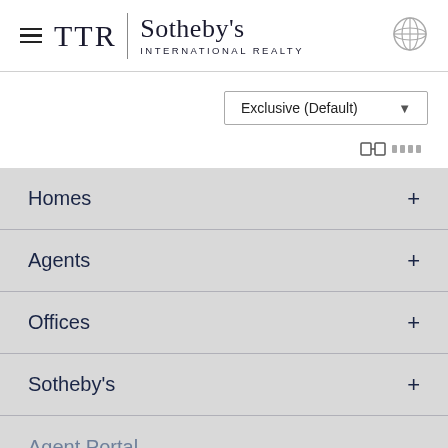[Figure (logo): TTR Sotheby's International Realty logo with hamburger menu and globe icon]
Exclusive (Default)
[Figure (other): Map icon with grid dots]
Homes
Agents
Offices
Sotheby's
Agent Portal